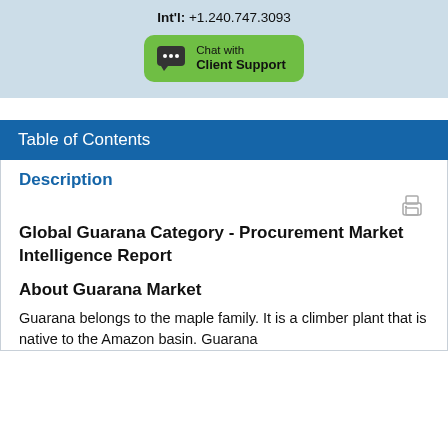Int'l: +1.240.747.3093
[Figure (other): Green chat button with speech bubble icon labeled 'Chat with Client Support']
Table of Contents
Description
Global Guarana Category - Procurement Market Intelligence Report
About Guarana Market
Guarana belongs to the maple family. It is a climber plant that is native to the Amazon basin. Guarana